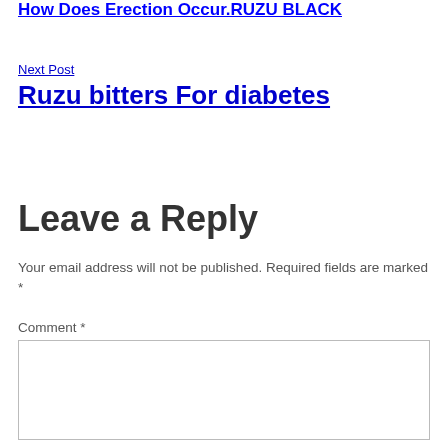How Does Erection Occur.RUZU BLACK
Next Post
Ruzu bitters For diabetes
Leave a Reply
Your email address will not be published. Required fields are marked *
Comment *